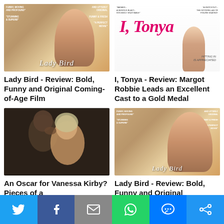[Figure (photo): Lady Bird movie poster showing a red-haired girl in profile with critic quotes]
[Figure (photo): I, Tonya movie poster with pink cursive title and figure skater]
Lady Bird - Review: Bold, Funny and Original Coming-of-Age Film
I, Tonya - Review: Margot Robbie Leads an Excellent Cast to a Gold Medal
[Figure (photo): Pieces of a Woman movie still showing two people in close intimate scene]
[Figure (photo): Lady Bird movie poster repeated]
An Oscar for Vanessa Kirby? Pieces of a
Lady Bird - Review: Bold, Funny and Original